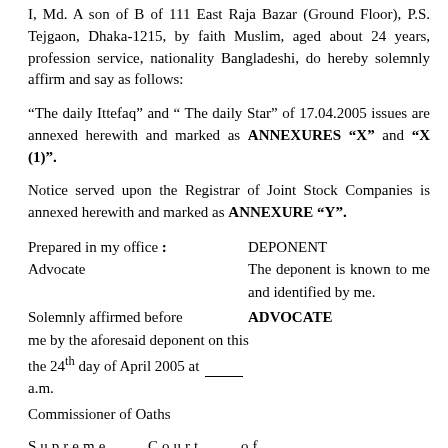I, Md. A son of B of 111 East Raja Bazar (Ground Floor), P.S. Tejgaon, Dhaka-1215, by faith Muslim, aged about 24 years, profession service, nationality Bangladeshi, do hereby solemnly affirm and say as follows:
“The daily Ittefaq” and “ The daily Star” of 17.04.2005 issues are annexed herewith and marked as ANNEXURES “X” and “X (1)”.
Notice served upon the Registrar of Joint Stock Companies is annexed herewith and marked as ANNEXURE “Y”.
Prepared in my office :      DEPONENT
Advocate                          The deponent is known to me and identified by me.
Solemnly affirmed before ADVOCATE
me by the aforesaid deponent on this the 24th day of April 2005 at ____ a.m.
Commissioner of Oaths

Supreme     Court     of